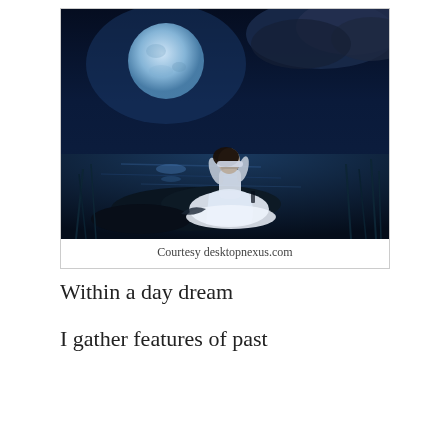[Figure (illustration): A dark, atmospheric fantasy illustration: a woman in a white dress sits blindfolded on rocks by a moonlit water's edge, with a large blue full moon and dramatic storm clouds in the background.]
Courtesy desktopnexus.com
Within a day dream
I gather features of past